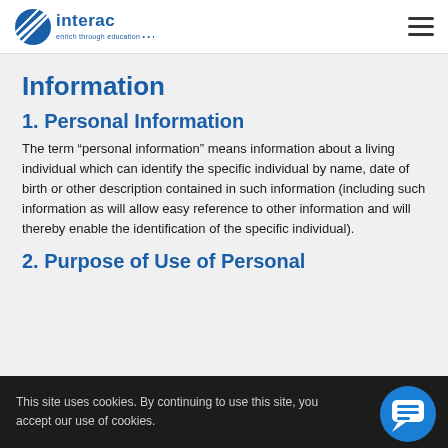interac — enrich through education
Information
1. Personal Information
The term “personal information” means information about a living individual which can identify the specific individual by name, date of birth or other description contained in such information (including such information as will allow easy reference to other information and will thereby enable the identification of the specific individual).
2. Purpose of Use of Personal
This site uses cookies. By continuing to use this site, you accept our use of cookies.